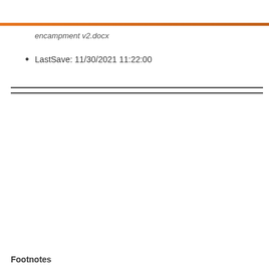encampment v2.docx
LastSave: 11/30/2021 11:22:00
Footnotes